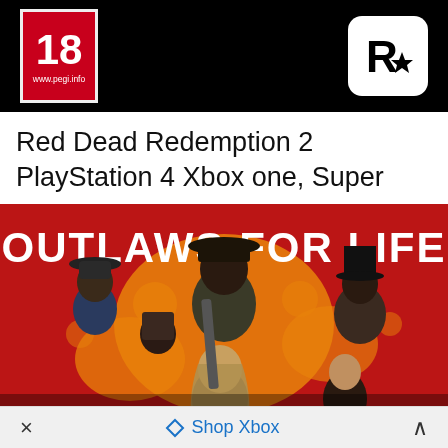[Figure (screenshot): PEGI 18 age rating badge with red background and white border, showing '18' and 'www.pegi.info' on black background, alongside Rockstar Games logo (R with star) in white rounded square on right side]
Red Dead Redemption 2 PlayStation 4 Xbox one, Super
[Figure (illustration): Red Dead Redemption 2 promotional artwork showing 'OUTLAWS FOR LIFE' text in white bold letters on red background with orange paint splash. Multiple outlaw characters including Arthur Morgan center with cowboy hat, shotgun across chest. Six characters total visible: man in suit and fedora on left, two more men behind, man in top hat right, woman with long hair center-bottom, and Native American character bottom right.]
× Shop Xbox ^